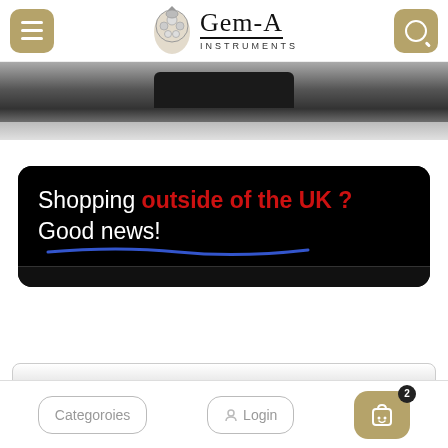[Figure (screenshot): Gem-A Instruments website header with hamburger menu button on left, Gem-A Instruments logo in center, and search button on right]
[Figure (photo): Dark hero image strip showing what appears to be a gemological instrument]
[Figure (screenshot): Black promotional banner with text: Shopping outside of the UK? Good news! The phrase 'outside of the UK?' is in red bold text and 'Good news!' has a blue underline]
[Figure (screenshot): Bottom navigation bar with Categoroies button, Login button, and cart button with badge showing 2 items]